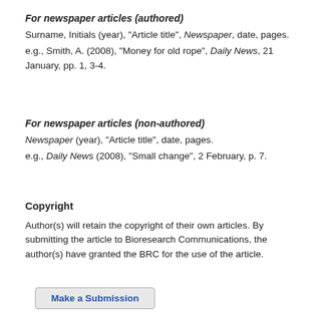For newspaper articles (authored)
Surname, Initials (year), "Article title", Newspaper, date, pages.
e.g., Smith, A. (2008), "Money for old rope", Daily News, 21 January, pp. 1, 3-4.
For newspaper articles (non-authored)
Newspaper (year), "Article title", date, pages.
e.g., Daily News (2008), "Small change", 2 February, p. 7.
Copyright
Author(s) will retain the copyright of their own articles. By submitting the article to Bioresearch Communications, the author(s) have granted the BRC for the use of the article.
Make a Submission